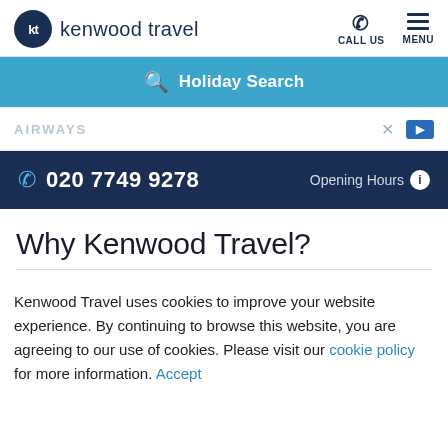kt kenwood travel | CALL US | MENU
Holiday Search
AIRWAYS
020 7749 9278 | Opening Hours
Why Kenwood Travel?
Kenwood Travel uses cookies to improve your website experience. By continuing to browse this website, you are agreeing to our use of cookies. Please visit our cookie policy for more information. Accept